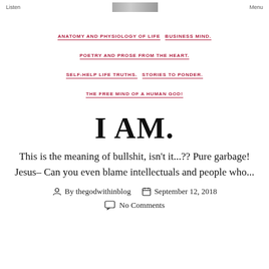Listen   Menu
[Figure (photo): Small cropped photo at top center]
ANATOMY AND PHYSIOLOGY OF LIFE   BUSINESS MIND.   POETRY AND PROSE FROM THE HEART.   SELF-HELP LIFE TRUTHS.   STORIES TO PONDER.   THE FREE MIND OF A HUMAN GOD!
I AM.
This is the meaning of bullshit, isn't it...?? Pure garbage! Jesus– Can you even blame intellectuals and people who...
By thegodwithinblog   September 12, 2018
No Comments